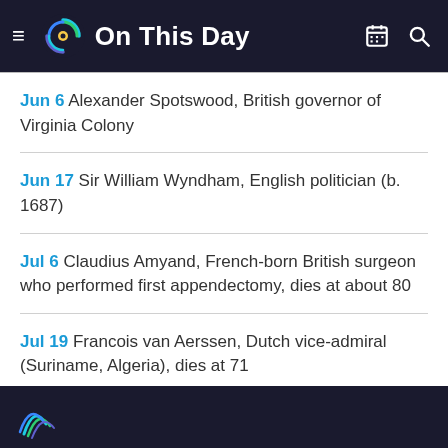On This Day
Jun 6 Alexander Spotswood, British governor of Virginia Colony
Jun 17 Sir William Wyndham, English politician (b. 1687)
Jul 6 Claudius Amyand, French-born British surgeon who performed first appendectomy, dies at about 80
Jul 19 Francois van Aerssen, Dutch vice-admiral (Suriname, Algeria), dies at 71
Oct 5 Johann Philipp Baratier, German scholar (b. 1721)